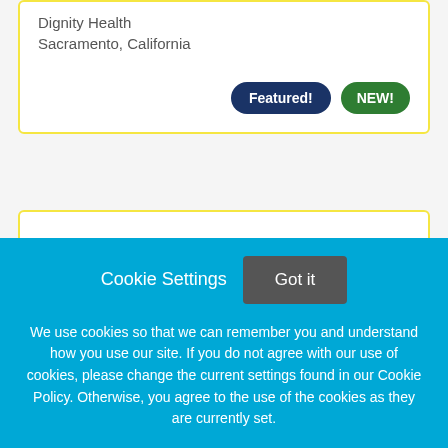Dignity Health
Sacramento, California
Featured!
NEW!
[Figure (logo): Dignity Health Logo placeholder image]
Internal Medicine Physician
Dignity Health
Cookie Settings
Got it
We use cookies so that we can remember you and understand how you use our site. If you do not agree with our use of cookies, please change the current settings found in our Cookie Policy. Otherwise, you agree to the use of the cookies as they are currently set.